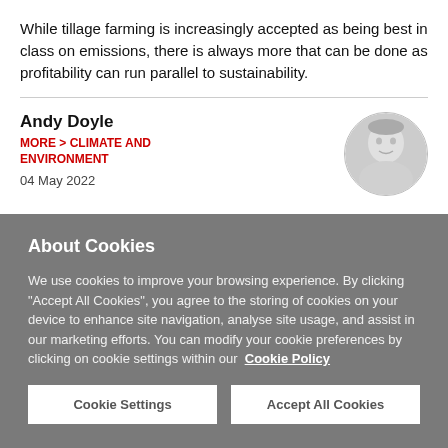While tillage farming is increasingly accepted as being best in class on emissions, there is always more that can be done as profitability can run parallel to sustainability.
Andy Doyle
MORE > CLIMATE AND ENVIRONMENT
04 May 2022
[Figure (photo): Black and white circular headshot photo of Andy Doyle, a middle-aged man smiling]
About Cookies
We use cookies to improve your browsing experience. By clicking "Accept All Cookies", you agree to the storing of cookies on your device to enhance site navigation, analyse site usage, and assist in our marketing efforts. You can modify your cookie preferences by clicking on cookie settings within our  Cookie Policy
Cookie Settings
Accept All Cookies